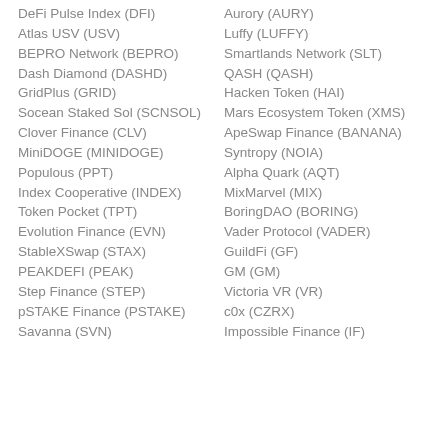DeFi Pulse Index (DFI)
Atlas USV (USV)
BEPRO Network (BEPRO)
Dash Diamond (DASHD)
GridPlus (GRID)
Socean Staked Sol (SCNSOL)
Clover Finance (CLV)
MiniDOGE (MINIDOGE)
Populous (PPT)
Index Cooperative (INDEX)
Token Pocket (TPT)
Evolution Finance (EVN)
StableXSwap (STAX)
PEAKDEFI (PEAK)
Step Finance (STEP)
pSTAKE Finance (PSTAKE)
Savanna (SVN)
Aurory (AURY)
Luffy (LUFFY)
Smartlands Network (SLT)
QASH (QASH)
Hacken Token (HAI)
Mars Ecosystem Token (XMS)
ApeSwap Finance (BANANA)
Syntropy (NOIA)
Alpha Quark (AQT)
MixMarvel (MIX)
BoringDAO (BORING)
Vader Protocol (VADER)
GuildFi (GF)
GM (GM)
Victoria VR (VR)
c0x (CZRX)
Impossible Finance (IF)